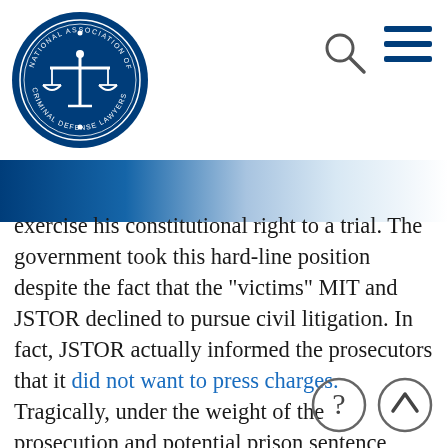National Association of Criminal Defense Lawyers logo, search icon, menu icon
exercise his constitutional right to a trial. The government took this hard-line position despite the fact that the "victims" MIT and JSTOR declined to pursue civil litigation. In fact, JSTOR actually informed the prosecutors that it did not want to press charges. Tragically, under the weight of the prosecution and potential prison sentence, Swartz committed suicide on January 11, 2013. After his death, the federal prosecutors dropped the charges.